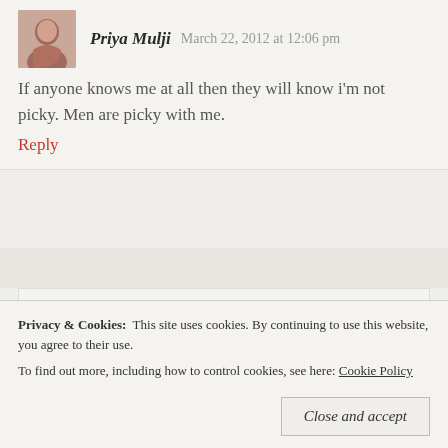Priya Mulji  March 22, 2012 at 12:06 pm
If anyone knows me at all then they will know i'm not picky. Men are picky with me.
Reply
Rohini Soni  March 22, 2012 at 12:24 pm
I see several men here who typify exactly what you mentioned Priya. These boys (men is perhaps too mature a descriptive for them) demonstrated that they are indeed
Privacy & Cookies:  This site uses cookies. By continuing to use this website, you agree to their use.
To find out more, including how to control cookies, see here: Cookie Policy
Close and accept
issues from their posts is that much more evidence that some